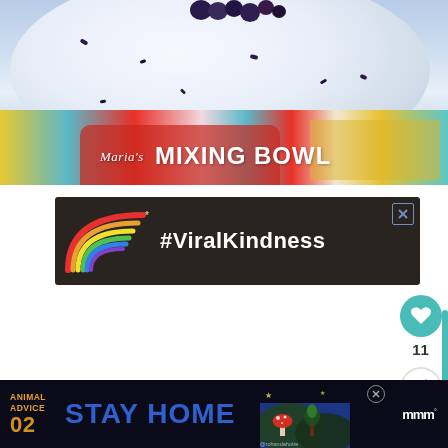[Figure (photo): Top portion of a food blog header photo showing a white plate with blueberries and creamy contents on a colorful floral tablecloth. Text overlay reads 'Maria's MIXING BOWL' in stylized script and bold lettering.]
[Figure (other): Advertisement banner with dark background showing a chalk-drawn rainbow and text '#ViralKindness' in white lettering. Close button X in upper right.]
[Figure (other): Social sharing sidebar on right with a teal heart button (favorite), number 11 below it, and a share button with plus icon. Vertical teal scroll bar visible.]
[Figure (other): Bottom advertisement banner on dark background reading 'ANIMAL ADVICE 02 STAY HOME' with illustrated mushroom/forest scene and '@rohandahotre' credit. 'mmm' logo on right. Close button X.]